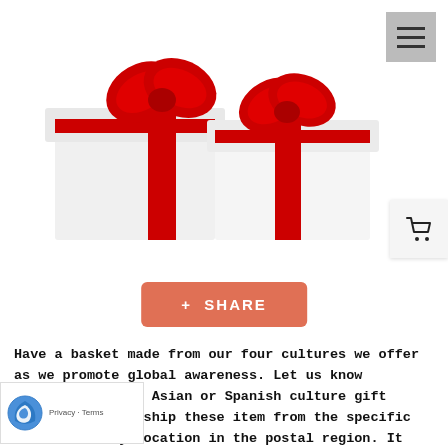[Figure (photo): Two white gift boxes with red ribbon and bow on white background]
+ SHARE
Have a basket made from our four cultures we offer as we promote global awareness. Let us know African, Indian, Asian or Spanish culture gift basket. We will ship these item from the specific culture to any location in the postal region. It will be a surprise you will Proceeds will be shared to feed the children in the selected r as chosen by you. Please feel free to send this link or a gift to your friends and family. let us come together to stop global hunger. Choose according to your budget as we fill up your